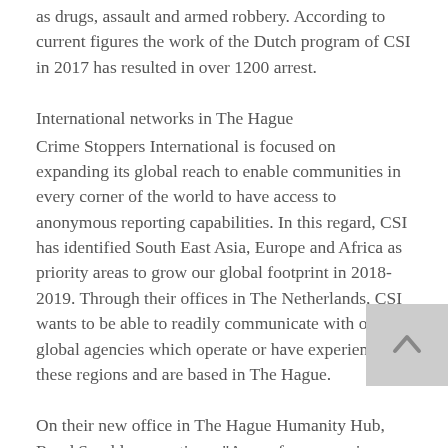as drugs, assault and armed robbery. According to current figures the work of the Dutch program of CSI in 2017 has resulted in over 1200 arrest.
International networks in The Hague
Crime Stoppers International is focused on expanding its global reach to enable communities in every corner of the world to have access to anonymous reporting capabilities. In this regard, CSI has identified South East Asia, Europe and Africa as priority areas to grow our global footprint in 2018-2019. Through their offices in The Netherlands, CSI wants to be able to readily communicate with other global agencies which operate or have experience in these regions and are based in The Hague.
On their new office in The Hague Humanity Hub, Ruud Smulders mentions: "As we focus on crime areas such as illicit